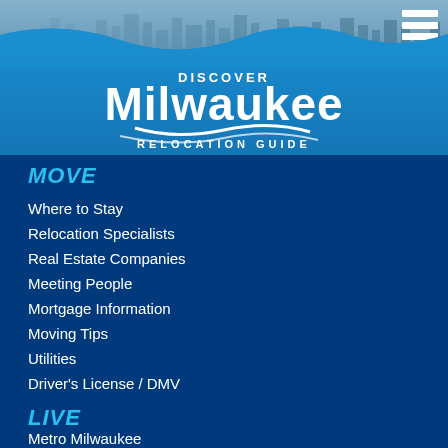[Figure (photo): City skyline photo banner at the top of the page with blue sky and buildings]
[Figure (logo): Discover Milwaukee Relocation Guide logo in white text on blue wave background]
MOVE
Where to Stay
Relocation Specialists
Real Estate Companies
Meeting People
Mortgage Information
Moving Tips
Utilities
Driver's License / DMV
LIVE
Metro Milwaukee